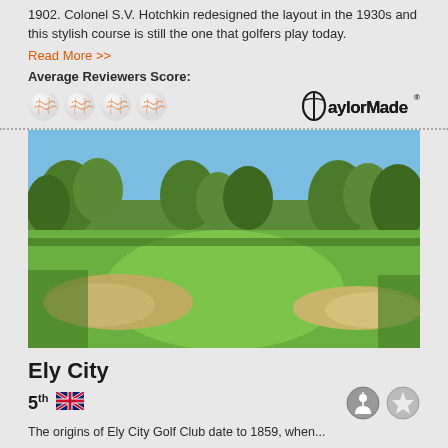1902. Colonel S.V. Hotchkin redesigned the layout in the 1930s and this stylish course is still the one that golfers play today.
Read More >>
Average Reviewers Score:
[Figure (illustration): Four golf balls (TaylorMade branded) shown as rating stars, alongside TaylorMade logo]
[Figure (photo): Golf course fairway photo showing green grass, sand bunkers on both sides, and trees in the background under a clear blue sky]
Ely City
5th (with England flag icon)
The origins of Ely City Golf Club date to 1859, when...